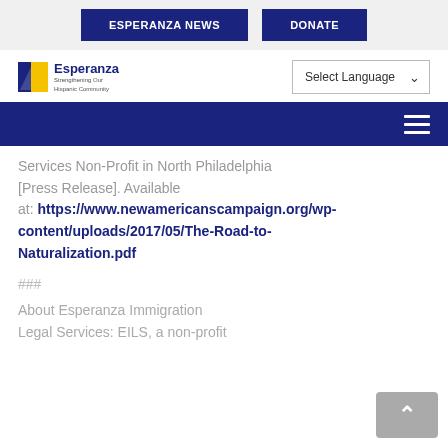ESPERANZA NEWS   DONATE
[Figure (logo): Esperanza logo with sunburst icon and tagline 'Strengthening Our Hispanic Community']
Services Non-Profit in North Philadelphia [Press Release]. Available at: https://www.newamericanscampaign.org/wp-content/uploads/2017/05/The-Road-to-Naturalization.pdf
###
About Esperanza Immigration Legal Services: EILS, a non-profit